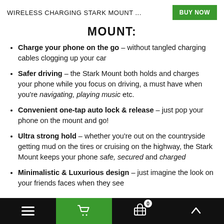WIRELESS CHARGING STARK MOUNT ...
MOUNT:
Charge your phone on the go - without tangled charging cables clogging up your car
Safer driving - the Stark Mount both holds and charges your phone while you focus on driving, a must have when you're navigating, playing music etc.
Convenient one-tap auto lock & release - just pop your phone on the mount and go!
Ultra strong hold - whether you're out on the countryside getting mud on the tires or cruising on the highway, the Stark Mount keeps your phone safe, secured and charged
Minimalistic & Luxurious design - just imagine the look on your friends faces when they see
Navigation bar with menu, cart (0), basket, and up arrow icons